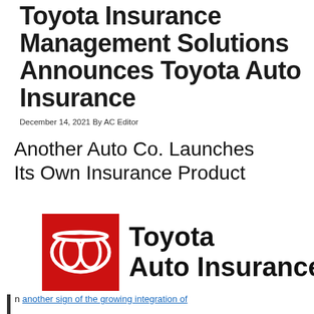Toyota Insurance Management Solutions Announces Toyota Auto Insurance
December 14, 2021 By AC Editor
Another Auto Co. Launches Its Own Insurance Product
[Figure (logo): Toyota Auto Insurance logo: red square with Toyota oval emblem on left, bold text 'Toyota Auto Insurance' on right]
n another sign of the growing integration of